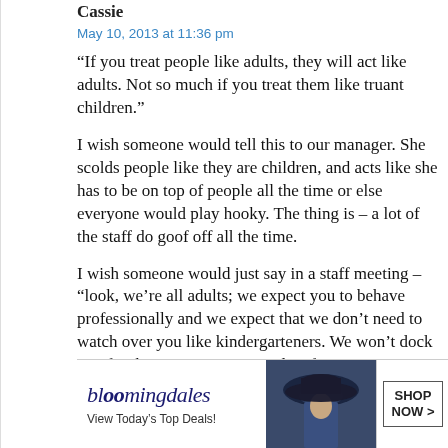Cassie
May 10, 2013 at 11:36 pm
“If you treat people like adults, they will act like adults. Not so much if you treat them like truant children.”
I wish someone would tell this to our manager. She scolds people like they are children, and acts like she has to be on top of people all the time or else everyone would play hooky. The thing is – a lot of the staff do goof off all the time.
I wish someone would just say in a staff meeting – “look, we’re all adults; we expect you to behave professionally and we expect that we don’t need to watch over you like kindergarteners. We won’t dock you for the 5 minutes you are late from time to time and ... lunch ev...
[Figure (other): Bloomingdale's advertisement banner with logo, fashion model wearing hat, and Shop Now button. CLOSE button overlay visible. Text reads: bloomingdales, View Today's Top Deals!, SHOP NOW >]